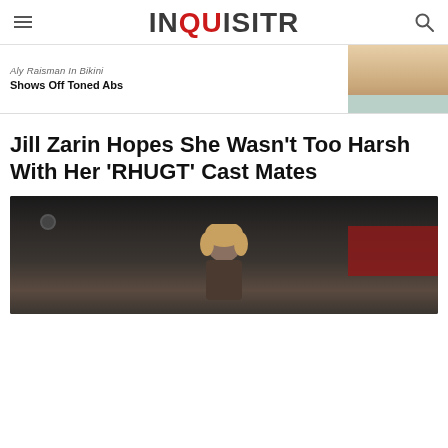INQUISITR
Aly Raisman In Bikini Shows Off Toned Abs
[Figure (photo): Partial photo of a blonde woman, cropped at chin/neck]
Jill Zarin Hopes She Wasn't Too Harsh With Her 'RHUGT' Cast Mates
[Figure (photo): Photo of a person at an event with dark background and red banner signage]